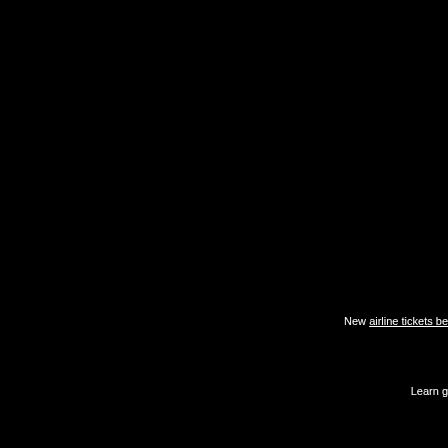New airline tickets be
Learn g